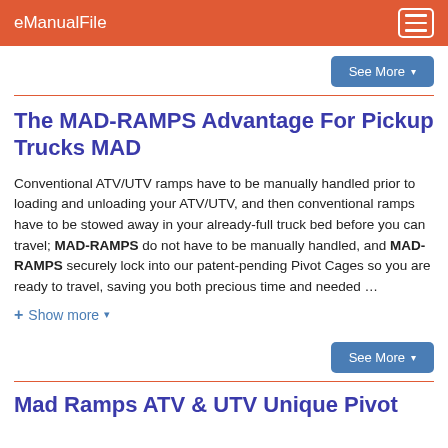eManualFile
The MAD-RAMPS Advantage For Pickup Trucks MAD
Conventional ATV/UTV ramps have to be manually handled prior to loading and unloading your ATV/UTV, and then conventional ramps have to be stowed away in your already-full truck bed before you can travel; MAD-RAMPS do not have to be manually handled, and MAD-RAMPS securely lock into our patent-pending Pivot Cages so you are ready to travel, saving you both precious time and needed …
+ Show more ▾
Mad Ramps ATV & UTV Unique Pivot